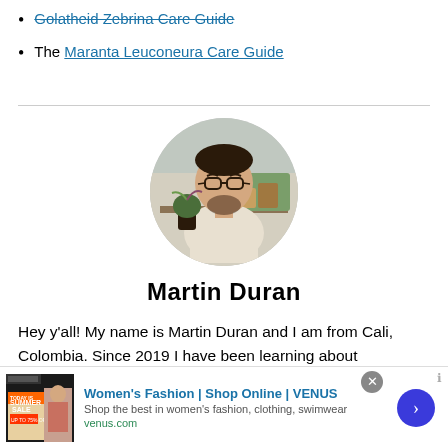Golatheid Zebrina Care Guide
The Maranta Leuconeura Care Guide
[Figure (photo): Circular portrait photo of Martin Duran, a man with glasses and a beard holding plants, with more plants visible in the background on shelves.]
Martin Duran
Hey y'all! My name is Martin Duran and I am from Cali, Colombia. Since 2019 I have been learning about
[Figure (other): Advertisement banner for VENUS Women's Fashion online shop showing Summer Sale image, ad title, description, and venus.com URL with close button and arrow button.]